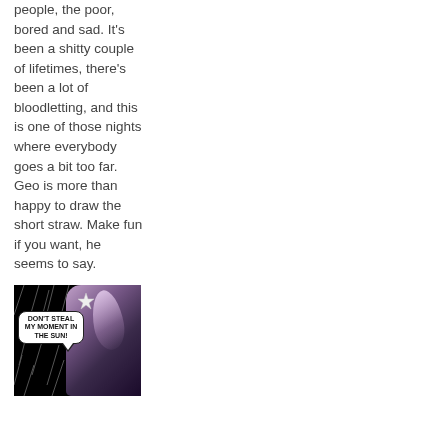people, the poor, bored and sad. It's been a shitty couple of lifetimes, there's been a lot of bloodletting, and this is one of those nights where everybody goes a bit too far. Geo is more than happy to draw the short straw. Make fun if you want, he seems to say.
[Figure (illustration): Dark comic panel showing a robot or armored helmet in the rain with a speech bubble that reads 'DON'T STEAL MY MOMENT IN THE SUN!']